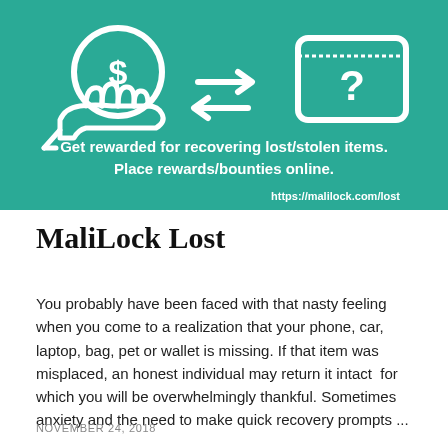[Figure (illustration): Teal/green banner with white line-art icons: a hand holding a coin with dollar sign, double-headed arrows pointing right and left, and a wallet with question mark. Text reads 'Get rewarded for recovering lost/stolen items. Place rewards/bounties online.' and URL 'https://malilock.com/lost']
MaliLock Lost
You probably have been faced with that nasty feeling when you come to a realization that your phone, car, laptop, bag, pet or wallet is missing. If that item was misplaced, an honest individual may return it intact  for which you will be overwhelmingly thankful. Sometimes anxiety and the need to make quick recovery prompts ...
NOVEMBER 24, 2018